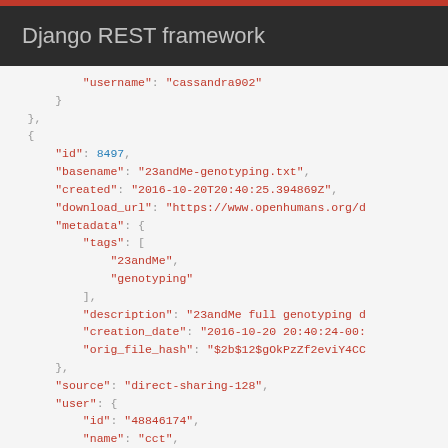Django REST framework
JSON code snippet showing API response with user and file metadata fields including id: 8497, basename: 23andMe-genotyping.txt, created: 2016-10-20T20:40:25.394869Z, download_url, metadata with tags: 23andMe, genotyping, description, creation_date, orig_file_hash, source: direct-sharing-128, user with id: 48846174, name: cct, username: cct